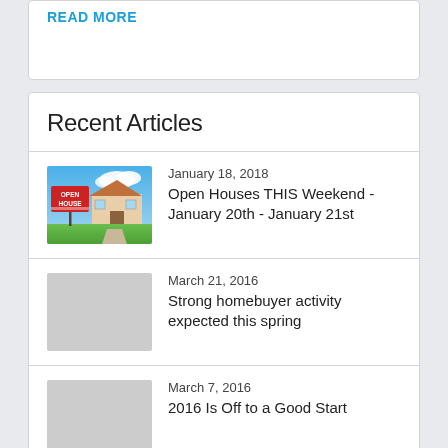READ MORE
Recent Articles
[Figure (photo): Open House sign in front of a house with blue sky background]
January 18, 2018
Open Houses THIS Weekend - January 20th - January 21st
March 21, 2016
Strong homebuyer activity expected this spring
March 7, 2016
2016 Is Off to a Good Start